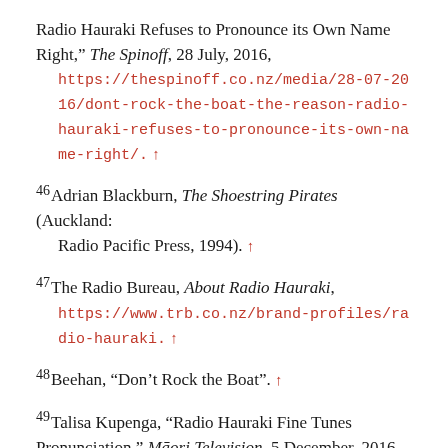Radio Hauraki Refuses to Pronounce its Own Name Right," The Spinoff, 28 July, 2016, https://thespinoff.co.nz/media/28-07-2016/dont-rock-the-boat-the-reason-radio-hauraki-refuses-to-pronounce-its-own-name-right/.
46 Adrian Blackburn, The Shoestring Pirates (Auckland: Radio Pacific Press, 1994).
47 The Radio Bureau, About Radio Hauraki, https://www.trb.co.nz/brand-profiles/radio-hauraki.
48 Beehan, “Don’t Rock the Boat”.
49 Talisa Kupenga, “Radio Hauraki Fine Tunes Pronunciation,” Māori Television, 5 December, 2016, https://www.māoritelevision.com/news/kaupeka/radi...